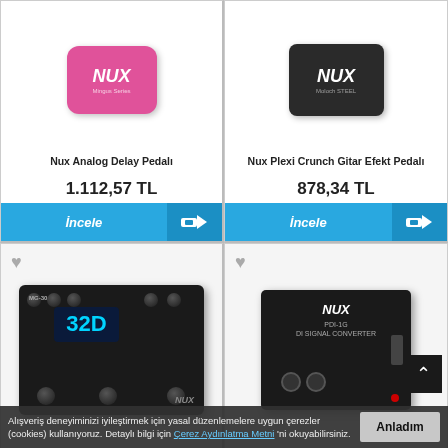[Figure (photo): NUX pink analog delay pedal product image]
Nux Analog Delay Pedalı
1.112,57 TL
İncele
[Figure (photo): NUX black Plexi Crunch guitar effect pedal product image]
Nux Plexi Crunch Gitar Efekt Pedalı
878,34 TL
İncele
[Figure (photo): NUX MG-30 multi-effects pedal board with 32D display]
[Figure (photo): NUX PDI-1G DI box / signal converter]
Alışveriş deneyiminizi iyileştirmek için yasal düzenlemelere uygun çerezler (cookies) kullanıyoruz. Detaylı bilgi için Çerez Aydınlatma Metni 'ni okuyabilirsiniz.
Anladım